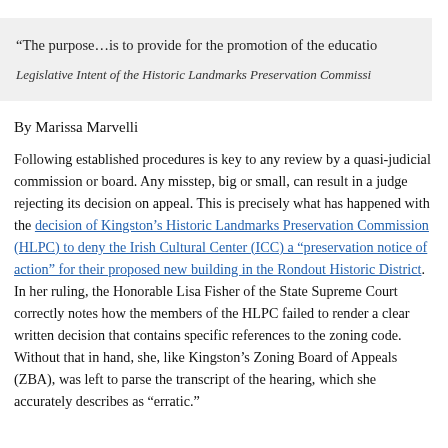“The purpose…is to provide for the promotion of the educatio
Legislative Intent of the Historic Landmarks Preservation Commissi
By Marissa Marvelli
Following established procedures is key to any review by a quasi-judicial commission or board. Any misstep, big or small, can result in a judge rejecting its decision on appeal. This is precisely what has happened with the decision of Kingston’s Historic Landmarks Preservation Commission (HLPC) to deny the Irish Cultural Center (ICC) a “preservation notice of action” for their proposed new building in the Rondout Historic District. In her ruling, the Honorable Lisa Fisher of the State Supreme Court correctly notes how the members of the HLPC failed to render a clear written decision that contains specific references to the zoning code. Without that in hand, she, like Kingston’s Zoning Board of Appeals (ZBA), was left to parse the transcript of the hearing, which she accurately describes as “erratic.”